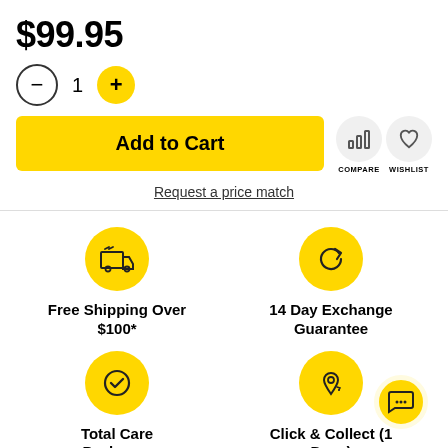$99.95
1 (quantity selector with minus and plus buttons)
Add to Cart
COMPARE | WISHLIST
Request a price match
Free Shipping Over $100*
14 Day Exchange Guarantee
Total Care Packages
Click & Collect (1 Days)